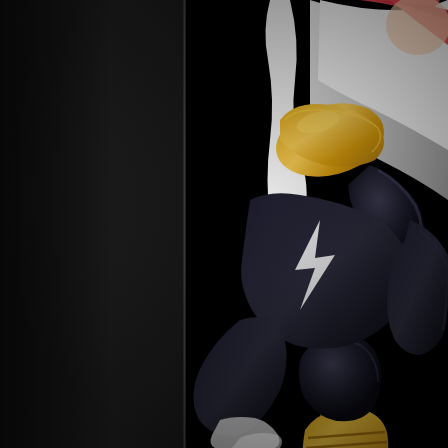[Figure (photo): Close-up photograph of a collectible action figure or statue wearing a black armored costume with gold/yellow shoulder pauldron and gold segmented wrist gauntlet/bracer. The figure has white hair or a white cape and pink/red streaks. The background is dark/black. The left portion of the image shows a dark grey textured panel. The figure appears to be a female superhero character.]